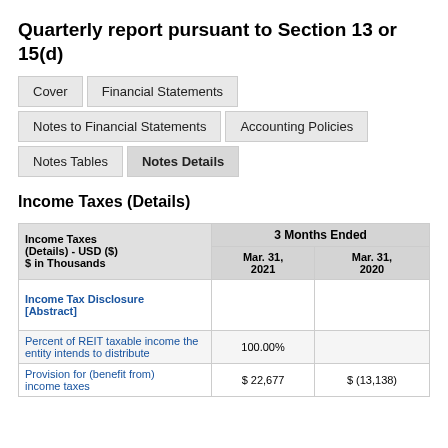Quarterly report pursuant to Section 13 or 15(d)
|  | Cover | Financial Statements | Notes to Financial Statements | Accounting Policies | Notes Tables | Notes Details |
| --- | --- | --- | --- | --- | --- | --- |
Income Taxes (Details)
| Income Taxes (Details) - USD ($) $ in Thousands | 3 Months Ended Mar. 31, 2021 | 3 Months Ended Mar. 31, 2020 |
| --- | --- | --- |
| Income Tax Disclosure [Abstract] |  |  |
| Percent of REIT taxable income the entity intends to distribute | 100.00% |  |
| Provision for (benefit from) income taxes | $ 22,677 | $ (13,138) |